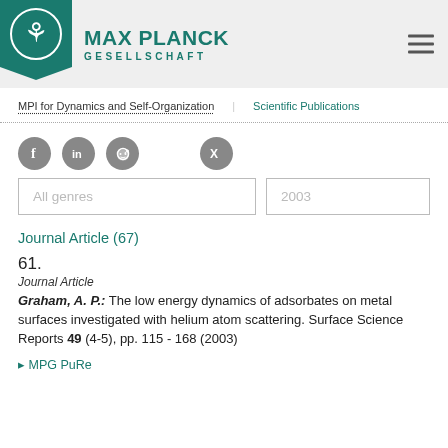MAX PLANCK GESELLSCHAFT
MPI for Dynamics and Self-Organization   Scientific Publications
[Figure (logo): Social media icons: Facebook, LinkedIn, Reddit, Xing]
All genres   2003
Journal Article (67)
61.
Journal Article
Graham, A. P.: The low energy dynamics of adsorbates on metal surfaces investigated with helium atom scattering. Surface Science Reports 49 (4-5), pp. 115 - 168 (2003)
MPG PuRe